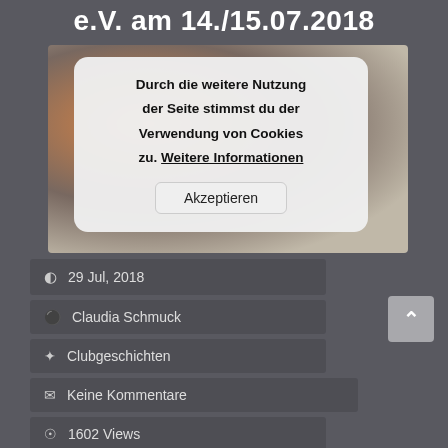e.V. am 14./15.07.2018
[Figure (screenshot): Cookie consent overlay modal on top of a photo of people in a room. Modal text reads: 'Durch die weitere Nutzung der Seite stimmst du der Verwendung von Cookies zu. Weitere Informationen' with an 'Akzeptieren' button.]
29 Jul, 2018
Claudia Schmuck
Clubgeschichten
Keine Kommentare
1602 Views
Lorem Ipsum is simply dummy text of the printing and typesetting industry. Lorem Ipsum has been the industry's standard dummy text ever since the 1500s, when